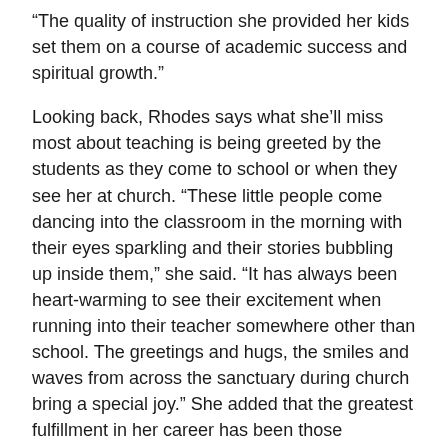“The quality of instruction she provided her kids set them on a course of academic success and spiritual growth.”
Looking back, Rhodes says what she’ll miss most about teaching is being greeted by the students as they come to school or when they see her at church. “These little people come dancing into the classroom in the morning with their eyes sparkling and their stories bubbling up inside them,” she said. “It has always been heart-warming to see their excitement when running into their teacher somewhere other than school. The greetings and hugs, the smiles and waves from across the sanctuary during church bring a special joy.” She added that the greatest fulfillment in her career has been those moments when the light bulb went on and a student finally caught on to a concept they’d been working on.